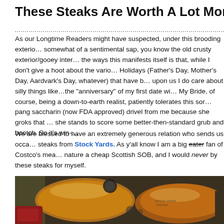These Steaks Are Worth A Lot More Per Pound Th...
As our Longtime Readers might have suspected, under this brooding exterio... somewhat of a sentimental sap, you know the old crusty exterior/gooey inter... the ways this manifests itself is that, while I don't give a hoot about the vario... Holidays (Father's Day, Mother's Day, Aardvark's Day, whatever) that have b... upon us I do care about silly things like…the "anniversary" of my first date wi... My Bride, of course, being a down-to-earth realist, patiently tolerates this sor... pang saccharin (now FDA approved) drivel from me because she groks that ... she stands to score some better-then-standard grub and hootch. So it's win-...
We are blessed to have an extremely generous relation who sends us occa... steaks from Stock Yards. As y'all know I am a big eater fan of Costco's mea... nature a cheap Scottish SOB, and I would never by these steaks for myself.
[Figure (photo): Photo of vacuum-sealed steaks in plastic packaging on a dark surface, with Stock Yards branding visible on the packaging.]